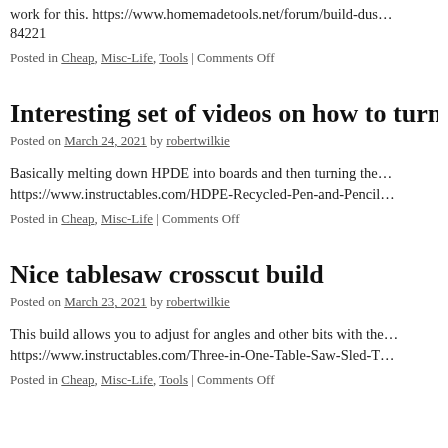work for this. https://www.homemadetools.net/forum/build-dust-84221
Posted in Cheap, Misc-Life, Tools | Comments Off
Interesting set of videos on how to turn m
Posted on March 24, 2021 by robertwilkie
Basically melting down HPDE into boards and then turning them https://www.instructables.com/HDPE-Recycled-Pen-and-Pencil
Posted in Cheap, Misc-Life | Comments Off
Nice tablesaw crosscut build
Posted on March 23, 2021 by robertwilkie
This build allows you to adjust for angles and other bits with the https://www.instructables.com/Three-in-One-Table-Saw-Sled-T
Posted in Cheap, Misc-Life, Tools | Comments Off